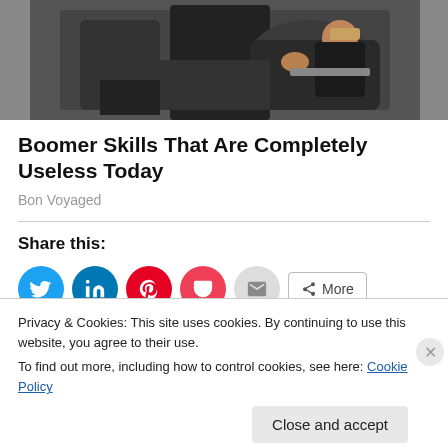[Figure (photo): Person's arms/hands handling a black bag or suitcase, wearing a watch and black clothing]
Boomer Skills That Are Completely Useless Today
Bon Voyaged
Share this:
[Figure (infographic): Share buttons: Twitter (blue circle), LinkedIn (blue circle), Pinterest (red circle), Pocket (red circle), Email (grey circle), More button]
Privacy & Cookies: This site uses cookies. By continuing to use this website, you agree to their use.
To find out more, including how to control cookies, see here: Cookie Policy
Close and accept